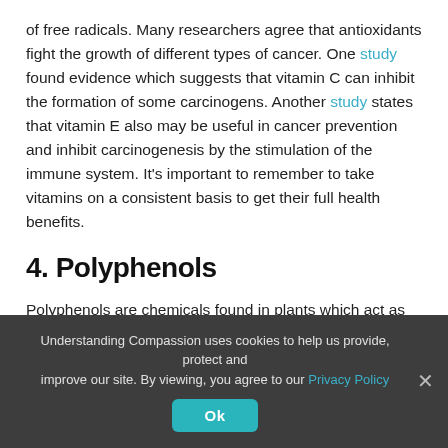of free radicals. Many researchers agree that antioxidants fight the growth of different types of cancer. One study found evidence which suggests that vitamin C can inhibit the formation of some carcinogens. Another study states that vitamin E also may be useful in cancer prevention and inhibit carcinogenesis by the stimulation of the immune system. It's important to remember to take vitamins on a consistent basis to get their full health benefits.
4. Polyphenols
Polyphenols are chemicals found in plants which act as antioxidants and anti-inflammatories. Research has shown that drinking green tea, which is a powerful source of polyphenols, may significantly reduce the risks of various types of cancer. Studies have shown that
Understanding Compassion uses cookies to help us provide, protect and improve our site. By viewing, you agree to our Privacy Policy
Ok